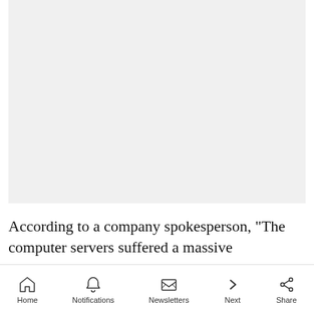[Figure (photo): A blank light gray image placeholder area at the top of the page]
According to a company spokesperson, "The computer servers suffered a massive ransomware
Home | Notifications | Newsletters | Next | Share